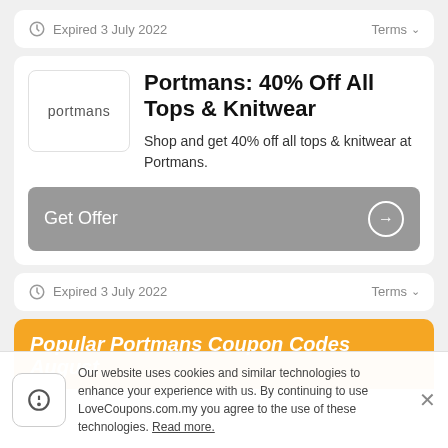Expired 3 July 2022  Terms
Portmans: 40% Off All Tops & Knitwear
Shop and get 40% off all tops & knitwear at Portmans.
Get Offer
Expired 3 July 2022  Terms
Popular Portmans Coupon Codes August
Our website uses cookies and similar technologies to enhance your experience with us. By continuing to use LoveCoupons.com.my you agree to the use of these technologies. Read more.